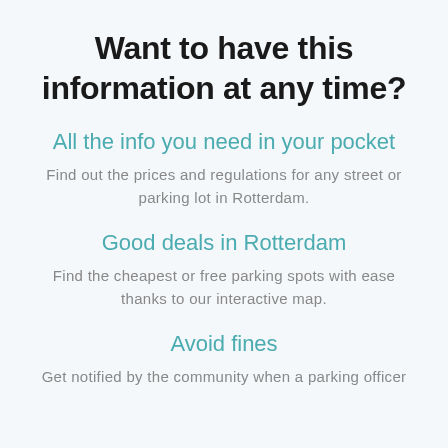Want to have this information at any time?
All the info you need in your pocket
Find out the prices and regulations for any street or parking lot in Rotterdam.
Good deals in Rotterdam
Find the cheapest or free parking spots with ease thanks to our interactive map.
Avoid fines
Get notified by the community when a parking officer